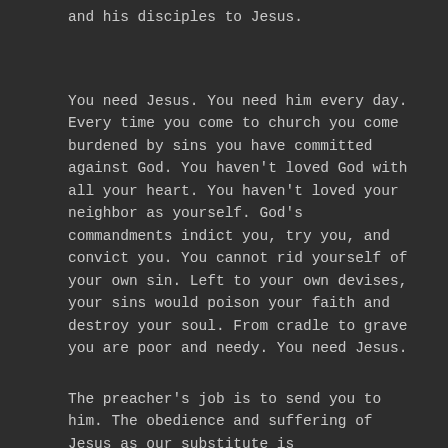...and his disciples to Jesus.
You need Jesus.  You need him every day.  Every time you come to church you come burdened by sins you have committed against God.  You haven't loved God with all your heart.  You haven't loved your neighbor as yourself.  God's commandments indict you, try you, and convict you.  You cannot rid yourself of your own sin.  Left to your own devises, your sins would poison your faith and destroy your soul.  From cradle to grave you are poor and needy.  You need Jesus.
The preacher's job is to send you to him.  The obedience and suffering of Jesus as our substitute is